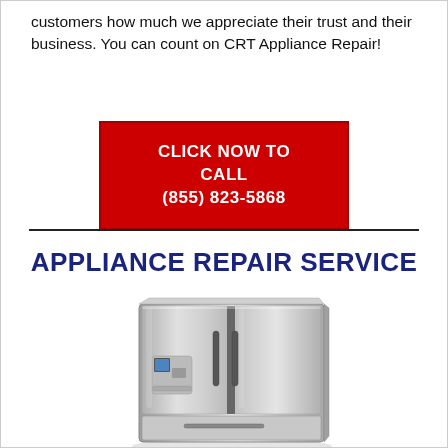customers how much we appreciate their trust and their business. You can count on CRT Appliance Repair!
[Figure (other): Red call-to-action button with white bold text reading CLICK NOW TO CALL (855) 823-5868]
APPLIANCE REPAIR SERVICE
[Figure (photo): Stainless steel French door refrigerator with bottom freezer drawer and water/ice dispenser on the left door]